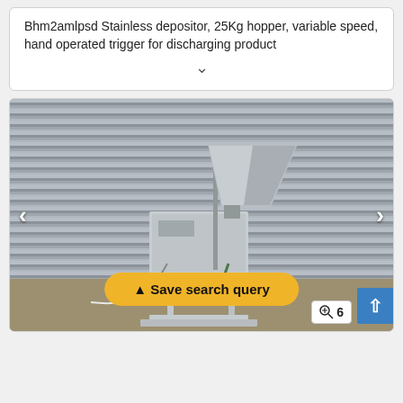Bhm2amlpsd Stainless depositor, 25Kg hopper, variable speed, hand operated trigger for discharging product
[Figure (photo): Photo of a stainless steel depositor machine with a hopper on top, standing on a metal frame, in front of a corrugated metal shutter background. Navigation arrows on left and right. A yellow 'Save search query' button overlaid at bottom center. A zoom/count badge showing magnifier icon and '6' at bottom right.]